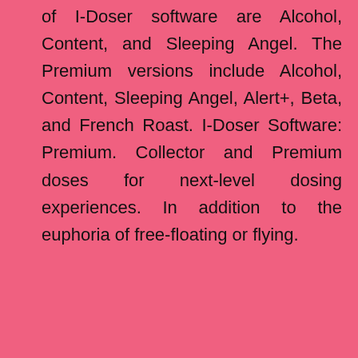of I-Doser software are Alcohol, Content, and Sleeping Angel. The Premium versions include Alcohol, Content, Sleeping Angel, Alert+, Beta, and French Roast. I-Doser Software: Premium. Collector and Premium doses for next-level dosing experiences. In addition to the euphoria of free-floating or flying.
Raja Rani Movie Imaye Imaye Cut Song Free Download
Ace The Ielts Pdf Full Download